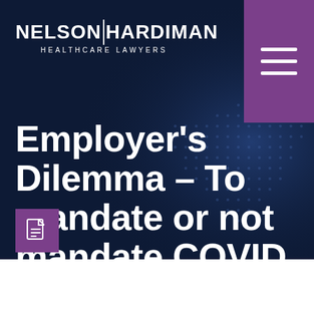[Figure (logo): Nelson Hardiman Healthcare Lawyers logo with white text on dark navy background, and purple hamburger menu icon in top right corner]
Employer's Dilemma – To mandate or not mandate COVID Vaccines in the workplace?
[Figure (other): Purple square with PDF file icon]